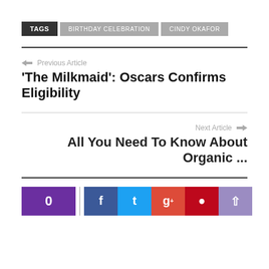TAGS   BIRTHDAY CELEBRATION   CINDY OKAFOR
← Previous Article
'The Milkmaid': Oscars Confirms Eligibility
Next Article →
All You Need To Know About Organic ...